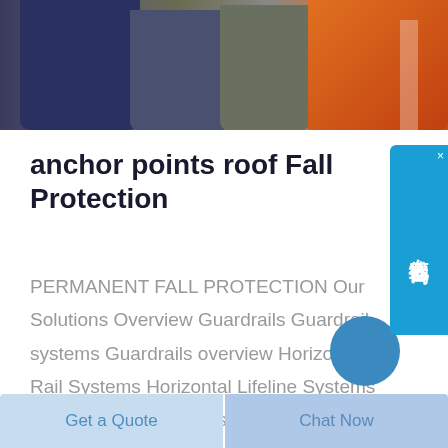[Figure (photo): Group of workers/people in work gear including orange high-visibility clothing, dark uniforms, photographed from chest level in a photo strip at the top of the page]
anchor points roof Fall Protection
PERMANENT FALL PROTECTION Our Solutions Overview Guardrails Guardrail systems Guardrails overview Horizontal Rail Systems Horizontal Lifeline Systems Roof Systems Wall Systems Overhead Lifelines Single Anchor Points
[Figure (illustration): Blue circle partially visible at bottom right of content area, partially cropped]
Get a Quote    Chat Now